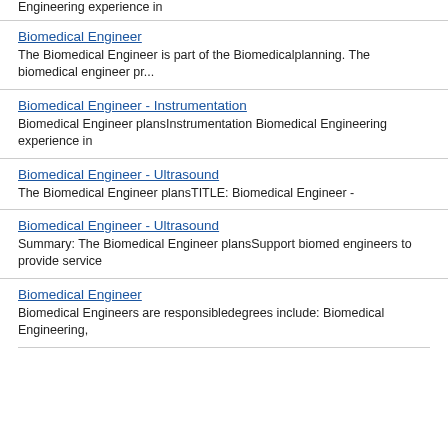Engineering experience in
Biomedical Engineer
The Biomedical Engineer is part of the Biomedicalplanning. The biomedical engineer pr...
Biomedical Engineer - Instrumentation
Biomedical Engineer plansInstrumentation Biomedical Engineering experience in
Biomedical Engineer - Ultrasound
The Biomedical Engineer plansTITLE: Biomedical Engineer -
Biomedical Engineer - Ultrasound
Summary: The Biomedical Engineer plansSupport biomed engineers to provide service
Biomedical Engineer
Biomedical Engineers are responsibledegrees include: Biomedical Engineering,